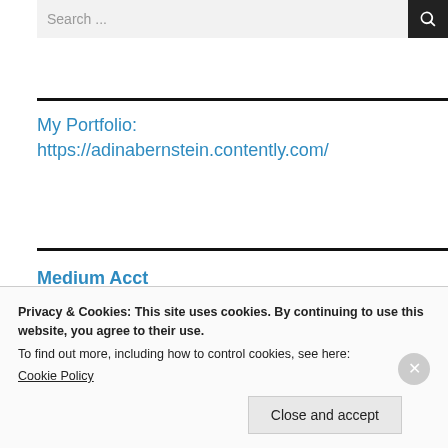Search ...
My Portfolio:
https://adinabernstein.contently.com/
Medium Acct
Privacy & Cookies: This site uses cookies. By continuing to use this website, you agree to their use.
To find out more, including how to control cookies, see here:
Cookie Policy